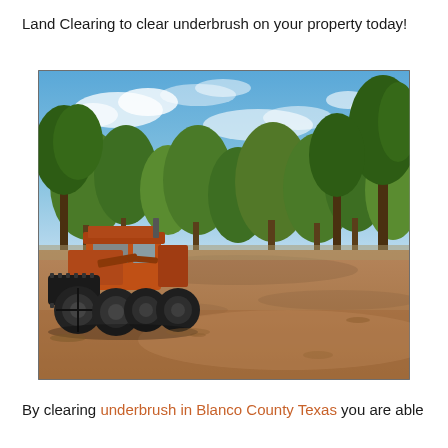Land Clearing to clear underbrush on your property today!
[Figure (photo): A red/orange heavy land clearing machine (mulcher/forestry mulcher) with large tires and a drum attachment on the front, parked on cleared brown dirt ground. Behind the machine are tall oak trees against a blue sky with wispy clouds. The cleared area extends to the right. The scene is in a Texas Hill Country setting.]
By clearing underbrush in Blanco County Texas you are able